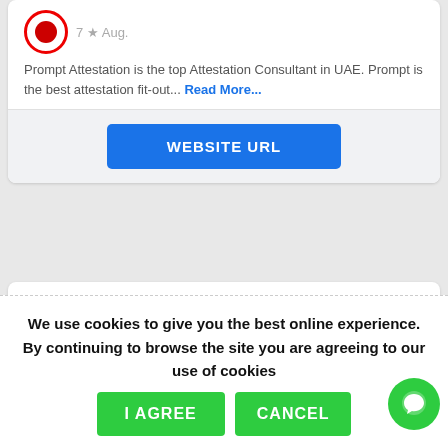[Figure (logo): Red circular logo with inner red circle, partially visible at top of card]
Prompt Attestation is the top Attestation Consultant in UAE. Prompt is the best attestation fit-out... Read More...
WEBSITE URL
5 star processing
We use cookies to give you the best online experience. By continuing to browse the site you are agreeing to our use of cookies
I AGREE
CANCEL